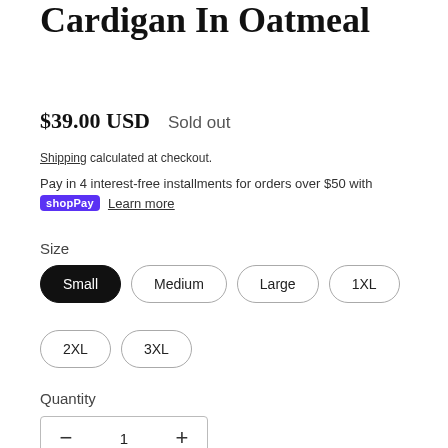Cardigan In Oatmeal
$39.00 USD   Sold out
Shipping calculated at checkout.
Pay in 4 interest-free installments for orders over $50 with shop Pay  Learn more
Size
Small
Medium
Large
1XL
2XL
3XL
Quantity
− 1 +